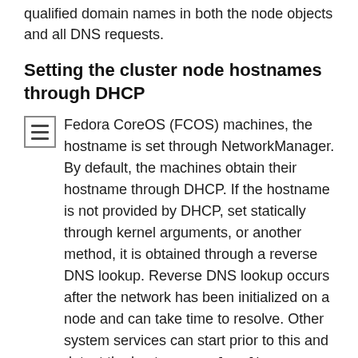qualified domain names in both the node objects and all DNS requests.
Setting the cluster node hostnames through DHCP
Fedora CoreOS (FCOS) machines, the hostname is set through NetworkManager. By default, the machines obtain their hostname through DHCP. If the hostname is not provided by DHCP, set statically through kernel arguments, or another method, it is obtained through a reverse DNS lookup. Reverse DNS lookup occurs after the network has been initialized on a node and can take time to resolve. Other system services can start prior to this and detect the hostname as localhost or similar. You can avoid this by using DHCP to provide the hostname for each cluster node.